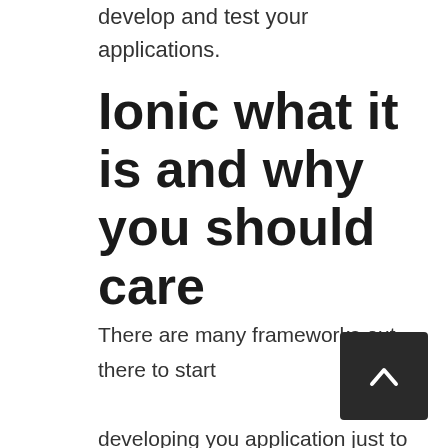develop and test your applications.
Ionic what it is and why you should care
There are many frameworks out there to start developing you application just to name a few Sencha, jQuery Mobile, famo.us, goratchet. Ionic differentiates it's self from this frameworks by being performance, native